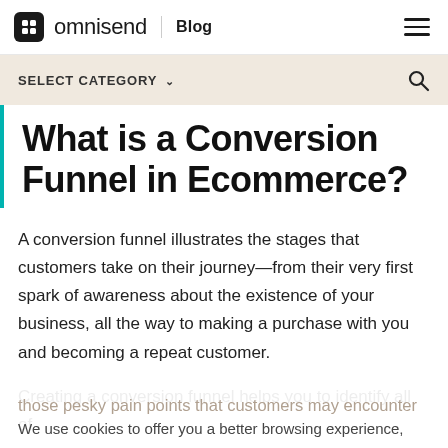omnisend | Blog
SELECT CATEGORY
What is a Conversion Funnel in Ecommerce?
A conversion funnel illustrates the stages that customers take on their journey—from their very first spark of awareness about the existence of your business, all the way to making a purchase with you and becoming a repeat customer.
Creating a conversion funnel helps you to identify all of those pesky pain points that customers may encounter along the way, as well as highlight the areas best
We use cookies to offer you a better browsing experience,